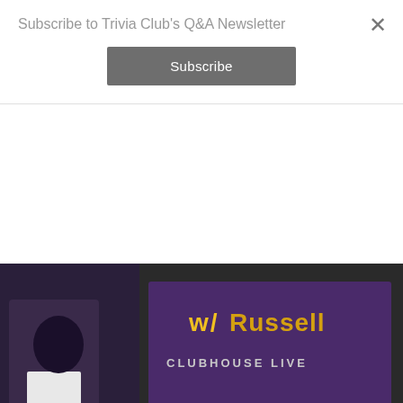Subscribe to Trivia Club's Q&A Newsletter
Subscribe
×
[Figure (photo): Photo of trivia clubhouse event sign showing 'w/ Russell' text in yellow, 'APRIL 13th, 20' text on yellow banner, and bottom text reading 'it's about you know, it's about you know...' against dark background with people visible]
LIVE FROM THE TRIVIA CLUBHOUSE W/ R...
[Figure (photo): Photo showing purple and yellow signage with 'JOHN HIGGINS' text visible and partial event branding at bottom of page]